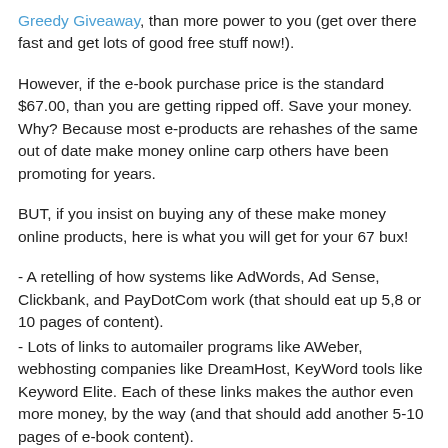Greedy Giveaway, than more power to you (get over there fast and get lots of good free stuff now!).
However, if the e-book purchase price is the standard $67.00, than you are getting ripped off. Save your money. Why? Because most e-products are rehashes of the same out of date make money online carp others have been promoting for years.
BUT, if you insist on buying any of these make money online products, here is what you will get for your 67 bux!
- A retelling of how systems like AdWords, Ad Sense, Clickbank, and PayDotCom work (that should eat up 5,8 or 10 pages of content).
- Lots of links to automailer programs like AWeber, webhosting companies like DreamHost, KeyWord tools like Keyword Elite. Each of these links makes the author even more money, by the way (and that should add another 5-10 pages of e-book content).
- A few videos which are primarily comprised of screen shots of the author setting up an AdWords campaign, his